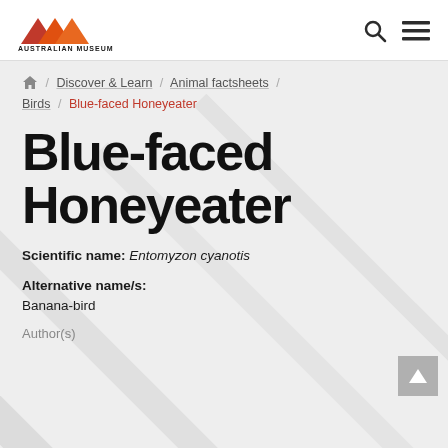[Figure (logo): Australian Museum logo with red/orange mountain-wave mark and text AUSTRALIAN MUSEUM]
AUSTRALIAN MUSEUM — navigation header with search and menu icons
Home / Discover & Learn / Animal factsheets / Birds / Blue-faced Honeyeater
Blue-faced Honeyeater
Scientific name: Entomyzon cyanotis
Alternative name/s: Banana-bird
Author(s)